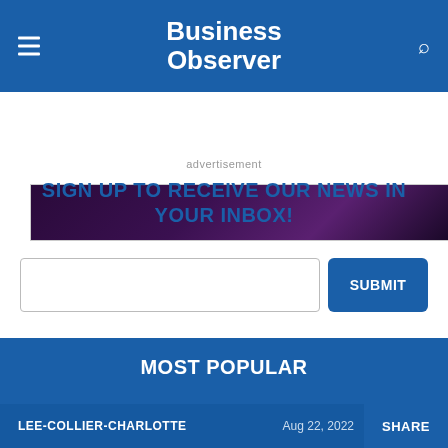Business Observer
[Figure (photo): Dark purple/violet advertisement image banner]
advertisement
SIGN UP TO RECEIVE OUR NEWS IN YOUR INBOX!
MOST POPULAR
LEE-COLLIER-CHARLOTTE   Aug 22, 2022   SHARE